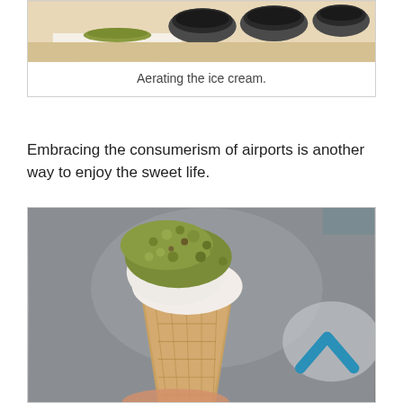[Figure (photo): Top portion of a photo showing ice cream being aerated in round metal containers on a light surface]
Aerating the ice cream.
Embracing the consumerism of airports is another way to enjoy the sweet life.
[Figure (photo): A pistachio-topped ice cream cone held by a hand, with a blurred gray background and a blue chevron/caret icon in the lower right]